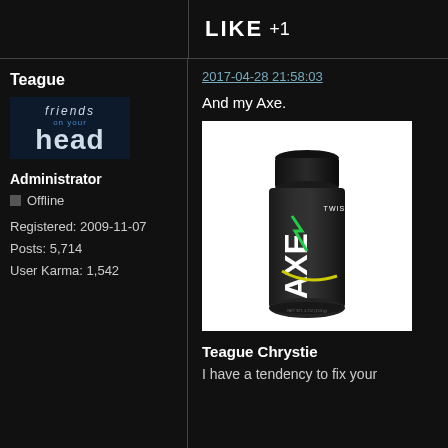LIKE +1
Teague
[Figure (logo): Friends on your head logo - stylized text in blue/white on dark background]
Administrator
Offline
Registered: 2009-11-07
Posts: 5,714
User Karma: 1,542
2017-04-28 21:58:03
And my Axe.
[Figure (photo): AXE Twist body spray deodorant can, black with green and yellow design on white background]
Teague Chrystie
I have a tendency to fix your